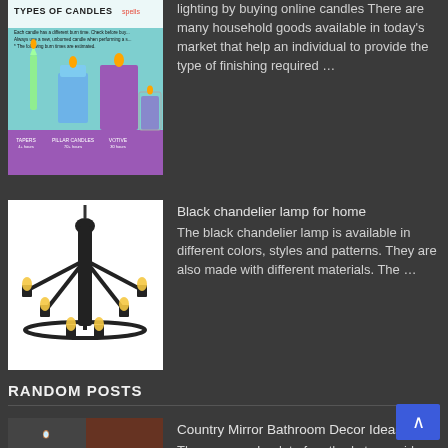[Figure (infographic): Types of Candles infographic showing different candle types including pillar candles and votive candles on a teal/purple background]
lighting by buying online candles There are many household goods available in today’s market that help an individual to provide the type of finishing required …
[Figure (photo): Black chandelier lamp with multiple arms holding Edison-style bulbs on white background]
Black chandelier lamp for home The black chandelier lamp is available in different colors, styles and patterns. They are also made with different materials. The …
RANDOM POSTS
[Figure (photo): Country Mirror Bathroom Decor Ideas thumbnail image]
Country Mirror Bathroom Decor Ideas There are such a lot of methods to provide